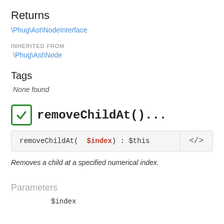Returns
\Phug\Ast\NodeInterface
INHERITED FROM
\Phug\Ast\Node
Tags
None found
removeChildAt()...
removeChildAt(  $index) : $this
Removes a child at a specified numerical index.
Parameters
$index